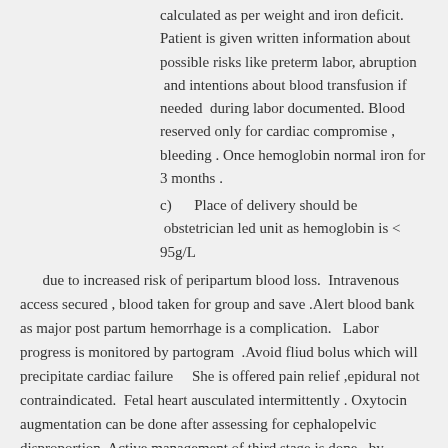calculated as per weight and iron deficit.  Patient is given written information about possible risks like preterm labor, abruption  and intentions about blood transfusion if needed  during labor documented. Blood reserved only for cardiac compromise , bleeding . Once hemoglobin normal iron for 3 months .
c)      Place of delivery should be  obstetrician led unit as hemoglobin is < 95g/L
due to increased risk of peripartum blood loss.  Intravenous access secured , blood taken for group and save .Alert blood bank as major post partum hemorrhage is a complication.   Labor progress is monitored by partogram  .Avoid fliud bolus which will precipitate cardiac failure    She is offered pain relief ,epidural not contraindicated.  Fetal heart ausculated intermittently . Oxytocin augmentation can be done after assessing for cephalopelvic disproportion. Active management of third stage is done . by prophylactic oxytocics , controlled cord traction. Post partum hemorrhage managed aggressively .  Thromboprophylaxis given as per risk assement  .Encourage early ambulation, hydration as thrombosis common.  Encourage breast feeding as more chance of lactation failure .  Look for fever  puerperal sepsis and treat with broad spectrum antibiotic.  Contraception advice given as repeated